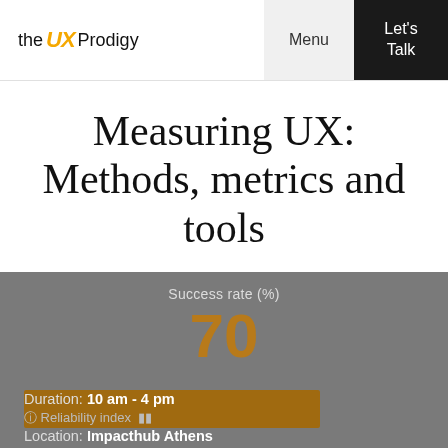the UX Prodigy | Menu | Let's Talk
Measuring UX: Methods, metrics and tools
[Figure (infographic): Dashboard infographic showing Success rate (%) = 70 with a gold progress bar, Duration: 10 am - 4 pm, Reliability index, Location: Impacthub Athens]
Duration: 10 am - 4 pm
Reliability index
Location: Impacthub Athens